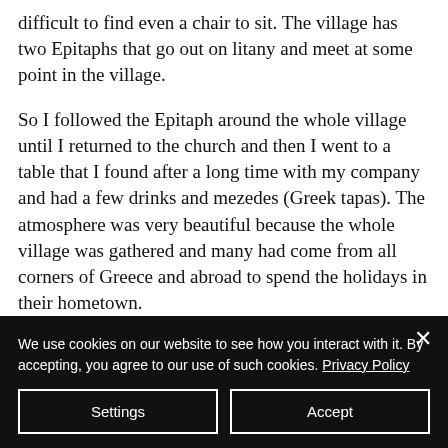difficult to find even a chair to sit. The village has two Epitaphs that go out on litany and meet at some point in the village.
So I followed the Epitaph around the whole village until I returned to the church and then I went to a table that I found after a long time with my company and had a few drinks and mezedes (Greek tapas). The atmosphere was very beautiful because the whole village was gathered and many had come from all corners of Greece and abroad to spend the holidays in their hometown.
We use cookies on our website to see how you interact with it. By accepting, you agree to our use of such cookies. Privacy Policy